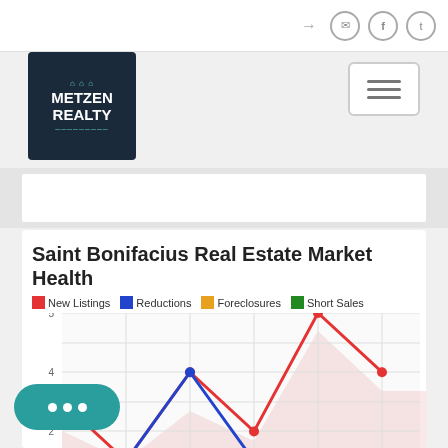Header with navigation icons
[Figure (logo): Metzen Realty logo - dark blue background with house icon and text]
Saint Bonifacius Real Estate Market Health
[Figure (line-chart): Saint Bonifacius Real Estate Market Health]